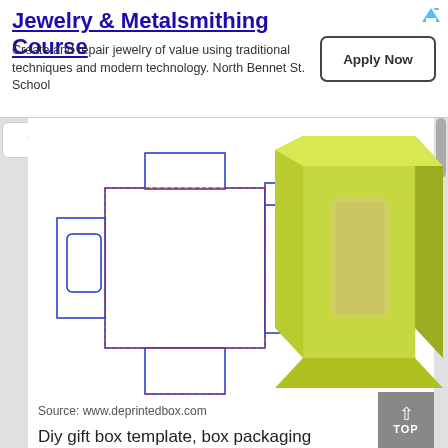Jewelry & Metalsmithing Course
Create and repair jewelry of value using traditional techniques and modern technology. North Bennet St. School
[Figure (illustration): Box packaging diagram showing a flat die-cut template (blue outline with red dashed fold lines) on the left and a 3D rendered green box with a window cutout on the right.]
Source: www.deprintedbox.com
Diy gift box template, box packaging templates, paper box template, box templates printable. Find & download the most popular diecut box template vectors on freepik ✓ free for